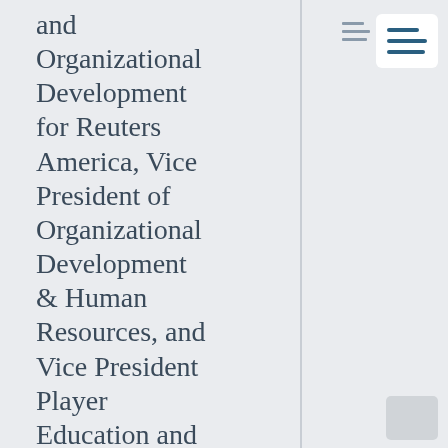and Organizational Development for Reuters America, Vice President of Organizational Development & Human Resources, and Vice President Player Education and Development for the National